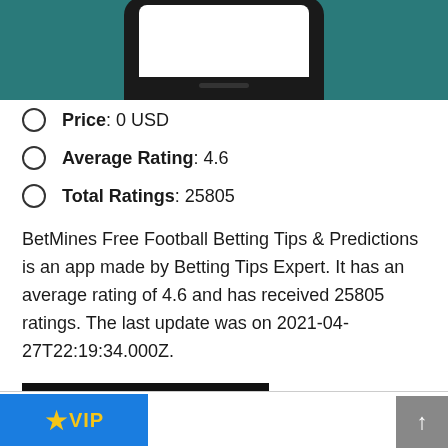[Figure (photo): Top portion of a smartphone mockup on a teal/dark green background, showing the top of the phone with a white screen visible]
Price: 0 USD
Average Rating: 4.6
Total Ratings: 25805
BetMines Free Football Betting Tips & Predictions is an app made by Betting Tips Expert. It has an average rating of 4.6 and has received 25805 ratings. The last update was on 2021-04-27T22:19:34.000Z.
[Figure (other): Black button with white uppercase text reading GET APP HERE]
[Figure (other): Blue banner with gold VIP star icon and VIP text, partially visible at the bottom of the page]